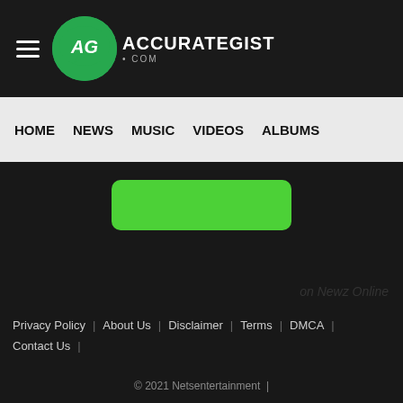AccurateGist.com — HOME | NEWS | MUSIC | VIDEOS | ALBUMS
[Figure (screenshot): Green rounded button, partially visible at top of dark content area]
on Newz Online
Privacy Policy | About Us | Disclaimer | Terms | DMCA | Contact Us | © 2021 Netsentertainment |